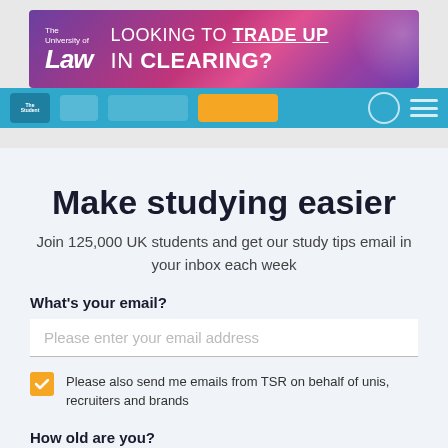[Figure (screenshot): University of Law advertisement banner: 'LOOKING TO TRADE UP IN CLEARING?' with purple-pink gradient background]
[Figure (screenshot): Navigation bar with The Student Room logo, icons, and yellow button on teal background]
Make studying easier
Join 125,000 UK students and get our study tips email in your inbox each week
What's your email?
Please enter your email address
Please also send me emails from TSR on behalf of unis, recruiters and brands
How old are you?
I'm 13 or older
I'm under 13